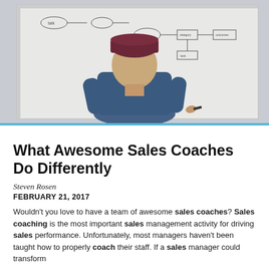[Figure (photo): A person in a blue t-shirt and dark red beanie hat, seen from the back, writing on a large whiteboard with diagrams and flowchart-like drawings on it.]
What Awesome Sales Coaches Do Differently
Steven Rosen
FEBRUARY 21, 2017
Wouldn't you love to have a team of awesome sales coaches? Sales coaching is the most important sales management activity for driving sales performance. Unfortunately, most managers haven't been taught how to properly coach their staff. If a sales manager could transform